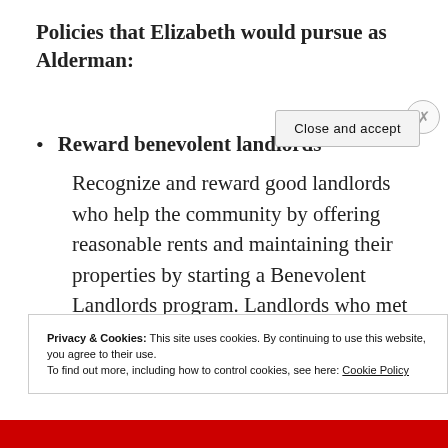Policies that Elizabeth would pursue as Alderman:
Reward benevolent landlords
Recognize and reward good landlords who help the community by offering reasonable rents and maintaining their properties by starting a Benevolent Landlords program. Landlords who met criteria — based on
Privacy & Cookies: This site uses cookies. By continuing to use this website, you agree to their use.
To find out more, including how to control cookies, see here: Cookie Policy
Close and accept